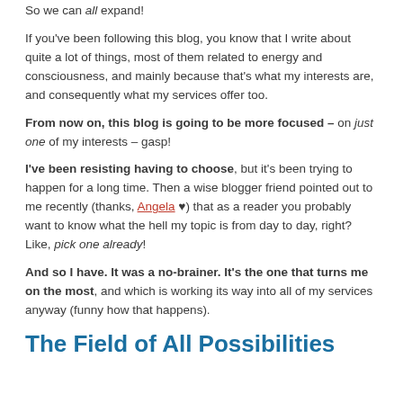So we can all expand!
If you've been following this blog, you know that I write about quite a lot of things, most of them related to energy and consciousness, and mainly because that's what my interests are, and consequently what my services offer too.
From now on, this blog is going to be more focused – on just one of my interests – gasp!
I've been resisting having to choose, but it's been trying to happen for a long time. Then a wise blogger friend pointed out to me recently (thanks, Angela ♥) that as a reader you probably want to know what the hell my topic is from day to day, right? Like, pick one already!
And so I have. It was a no-brainer. It's the one that turns me on the most, and which is working its way into all of my services anyway (funny how that happens).
The Field of All Possibilities